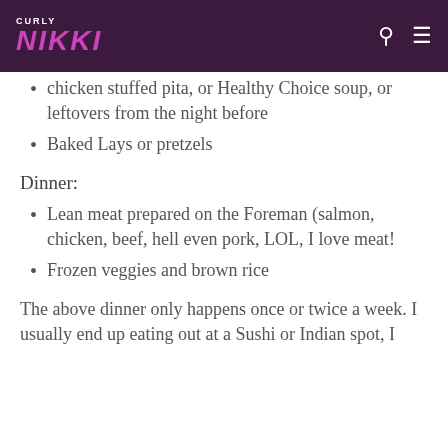CURLY NIKKI
chicken stuffed pita, or Healthy Choice soup, or leftovers from the night before
Baked Lays or pretzels
Dinner:
Lean meat prepared on the Foreman (salmon, chicken, beef, hell even pork, LOL, I love meat!
Frozen veggies and brown rice
The above dinner only happens once or twice a week. I usually end up eating out at a Sushi or Indian spot, I